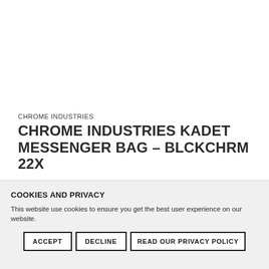CHROME INDUSTRIES
CHROME INDUSTRIES KADET MESSENGER BAG – BLCKCHRM 22X
OUT OF STOCK
£80.00
COOKIES AND PRIVACY
This website use cookies to ensure you get the best user experience on our website.
ACCEPT   DECLINE   READ OUR PRIVACY POLICY